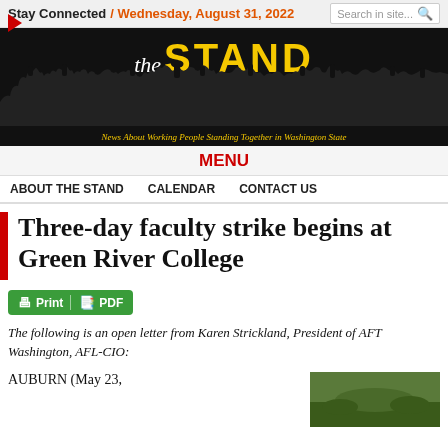Stay Connected / Wednesday, August 31, 2022
[Figure (illustration): The Stand newspaper banner with silhouette crowd raising fists, tagline: News About Working People Standing Together in Washington State]
MENU
ABOUT THE STAND   CALENDAR   CONTACT US
Three-day faculty strike begins at Green River College
The following is an open letter from Karen Strickland, President of AFT Washington, AFL-CIO:
AUBURN (May 23,